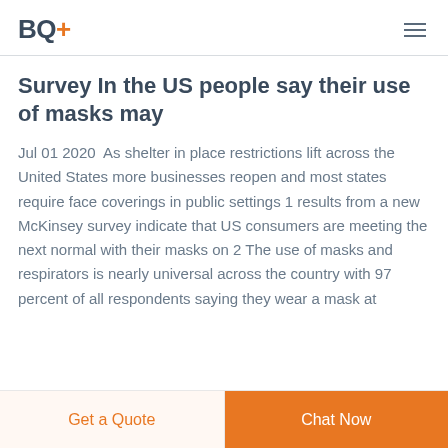BQ+
Survey In the US people say their use of masks may
Jul 01 2020  As shelter in place restrictions lift across the United States more businesses reopen and most states require face coverings in public settings 1 results from a new McKinsey survey indicate that US consumers are meeting the next normal with their masks on 2 The use of masks and respirators is nearly universal across the country with 97 percent of all respondents saying they wear a mask at
Get a Quote | Chat Now